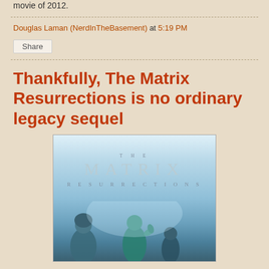movie of 2012.
Douglas Laman (NerdInTheBasement) at 5:19 PM
Share
Thankfully, The Matrix Resurrections is no ordinary legacy sequel
[Figure (photo): Movie poster for The Matrix Resurrections showing the title text 'THE MATRIX RESURRECTIONS' against a light blue/white background with figures of characters at the bottom]